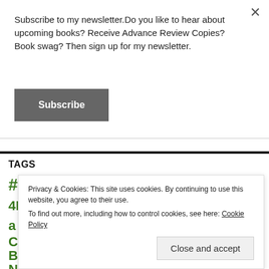Subscribe to my newsletter.Do you like to hear about upcoming books? Receive Advance Review Copies? Book swag? Then sign up for my newsletter.
Subscribe
TAGS
#AtoZChallenge #BookHugs #SEWES2016
4RV Publishing Aberdeenshire A Shadow in the Past Author
Privacy & Cookies: This site uses cookies. By continuing to use this website, you agree to their use. To find out more, including how to control cookies, see here: Cookie Policy
Close and accept